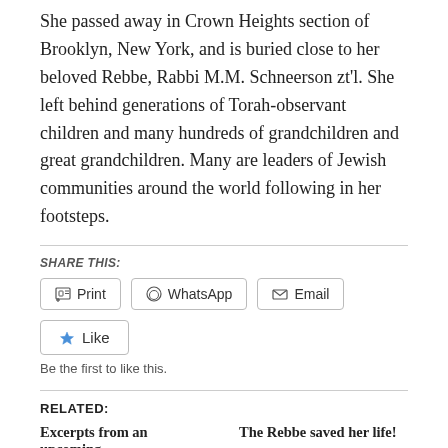She passed away in Crown Heights section of Brooklyn, New York, and is buried close to her beloved Rebbe, Rabbi M.M. Schneerson zt'l. She left behind generations of Torah-observant children and many hundreds of grandchildren and great grandchildren. Many are leaders of Jewish communities around the world following in her footsteps.
SHARE THIS:
Print | WhatsApp | Email
Like
Be the first to like this.
RELATED:
Excerpts from an upcoming | The Rebbe saved her life!